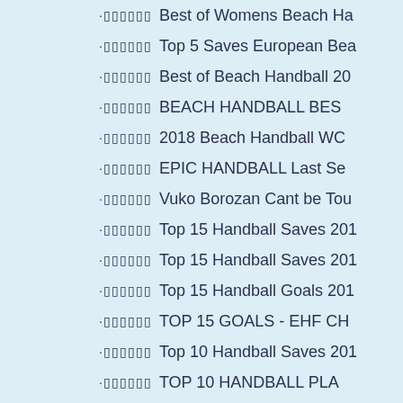·▯▯▯▯▯▯ Best of Womens Beach Ha…
·▯▯▯▯▯▯ Top 5 Saves European Bea…
·▯▯▯▯▯▯ Best of Beach Handball 20…
·▯▯▯▯▯▯ BEACH HANDBALL BES…
·▯▯▯▯▯▯ 2018 Beach Handball WC …
·▯▯▯▯▯▯ EPIC HANDBALL Last Se…
·▯▯▯▯▯▯ Vuko Borozan Cant be Tou…
·▯▯▯▯▯▯ Top 15 Handball Saves 201…
·▯▯▯▯▯▯ Top 15 Handball Saves 201…
·▯▯▯▯▯▯ Top 15 Handball Goals 201…
·▯▯▯▯▯▯ TOP 15 GOALS - EHF CH…
·▯▯▯▯▯▯ Top 10 Handball Saves 201…
·▯▯▯▯▯▯ TOP 10 HANDBALL PLA…
·▯▯▯▯▯▯ Top 10 Handball Goals 201…